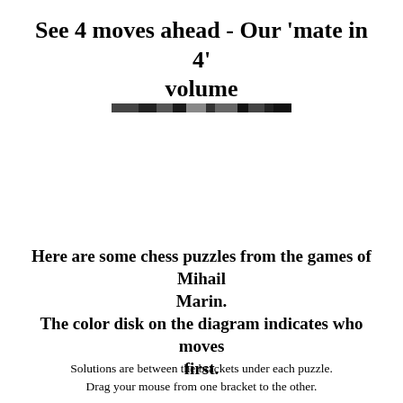See 4 moves ahead - Our 'mate in 4' volume
[Figure (photo): A small decorative banner image, appears to be a blurred/pixelated horizontal strip image]
Here are some chess puzzles from the games of Mihail Marin.
The color disk on the diagram indicates who moves first.
Solutions are between the brackets under each puzzle.
Drag your mouse from one bracket to the other.